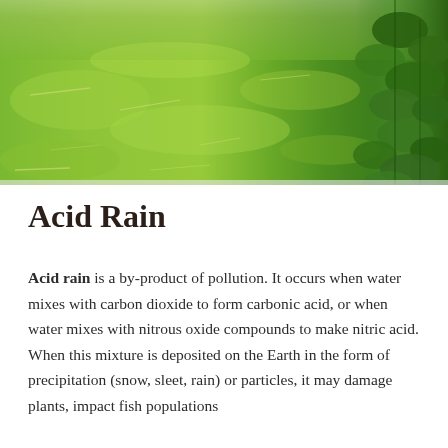[Figure (photo): Photograph of a green algae-covered pond or water body, with lush green vegetation and plants visible along the right bank.]
Acid Rain
Acid rain is a by-product of pollution. It occurs when water mixes with carbon dioxide to form carbonic acid, or when water mixes with nitrous oxide compounds to make nitric acid. When this mixture is deposited on the Earth in the form of precipitation (snow, sleet, rain) or particles, it may damage plants, impact fish populations